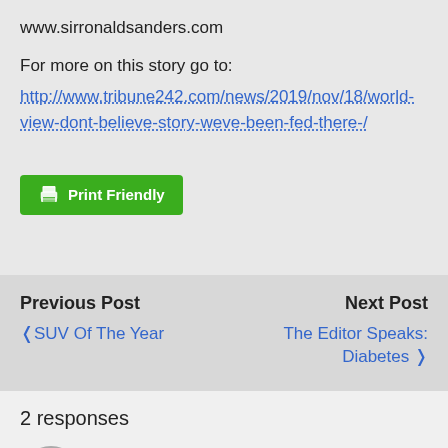www.sirronaldsanders.com
For more on this story go to:
http://www.tribune242.com/news/2019/nov/18/world-view-dont-believe-story-weve-been-fed-there-/
[Figure (other): Green Print Friendly button with printer icon]
Previous Post
< SUV Of The Year
Next Post
The Editor Speaks: Diabetes >
2 responses
Karan Elson